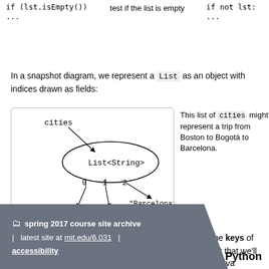| Java | English | Python |
| --- | --- | --- |
| if (lst.isEmpty()) | test if the list is empty | if not lst: |
| ... |  | ... |
In a snapshot diagram, we represent a List as an object with indices drawn as fields:
[Figure (illustration): Snapshot diagram showing a List<String> object labeled 'cities' with indices 0, 1, 2 pointing to "Boston", "Bogotá", "Barcelona" respectively]
This list of cities might represent a trip from Boston to Bogotá to Barcelona.
A Map is similar to a Python dictionary. In Python, the keys of a map must be hashable. Java has a similar requirement that we'll discuss when we confront how equality works between Java objects.
spring 2017 course site archive | latest site at mit.edu/6.031 | accessibility    Python